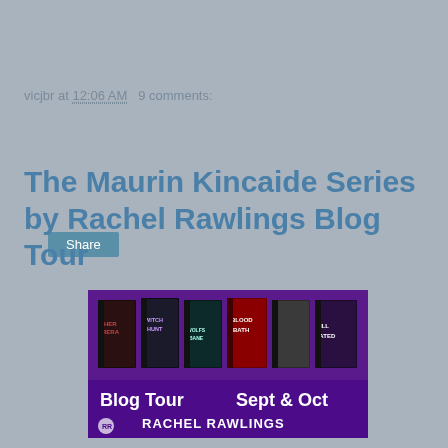vicjbr at 12:06 AM   9 comments:
Share
The Maurin Kincaide Series by Rachel Rawlings Blog Tour
[Figure (illustration): Blog Tour banner for Rachel Rawlings featuring book covers including Herrera, Witch Hunt, Wolfsbane, Blood Bath, and Ill Fated. Purple background with text 'Blog Tour Sept & Oct RACHEL RAWLINGS']